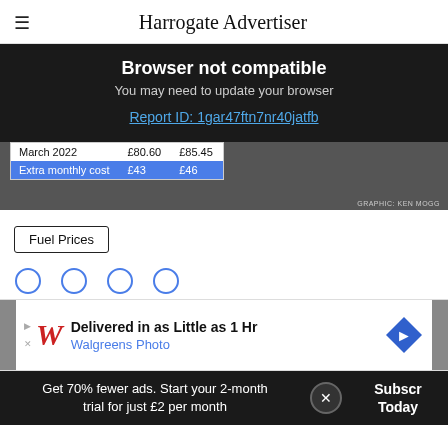Harrogate Advertiser
Browser not compatible
You may need to update your browser
Report ID: 1gar47ftn7nr40jatfb
| March 2022 | £80.60 | £85.45 |
| Extra monthly cost | £43 | £46 |
Fuel Prices
[Figure (screenshot): Walgreens Photo advertisement: Delivered in as Little as 1 Hr, Walgreens Photo]
Get 70% fewer ads. Start your 2-month trial for just £2 per month  Subscribe Today